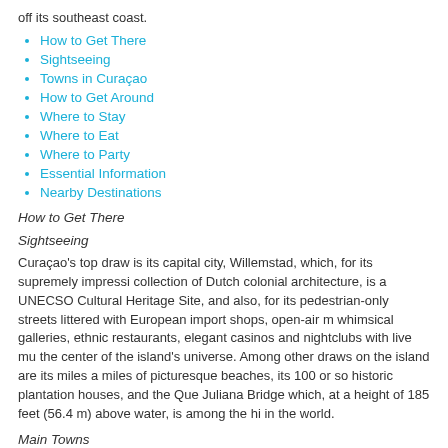off its southeast coast.
How to Get There
Sightseeing
Towns in Curaçao
How to Get Around
Where to Stay
Where to Eat
Where to Party
Essential Information
Nearby Destinations
How to Get There
Sightseeing
Curaçao's top draw is its capital city, Willemstad, which, for its supremely impressi collection of Dutch colonial architecture, is a UNECSO Cultural Heritage Site, and also, for its pedestrian-only streets littered with European import shops, open-air m whimsical galleries, ethnic restaurants, elegant casinos and nightclubs with live mu the center of the island's universe. Among other draws on the island are its miles a miles of picturesque beaches, its 100 or so historic plantation houses, and the Que Juliana Bridge which, at a height of 185 feet (56.4 m) above water, is among the hi in the world.
Main Towns
Willemstad